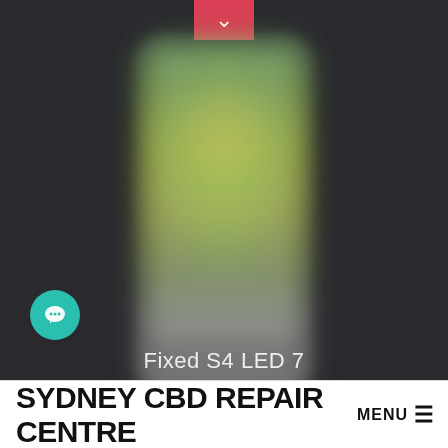[Figure (screenshot): Screenshot of a mobile website showing a blurred phone image with colorful green/yellow LED glow display on dark background, with a red dropdown button at top and teal chat bubble on the left. Text reads 'Fixed S4 LED 7'. At the bottom is a navigation bar with 'SYDNEY CBD REPAIR CENTRE' and 'MENU' with hamburger icon.]
Fixed S4 LED 7
SYDNEY CBD REPAIR CENTRE MENU ☰